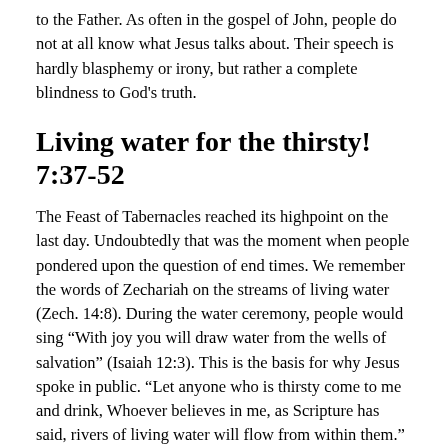to the Father. As often in the gospel of John, people do not at all know what Jesus talks about. Their speech is hardly blasphemy or irony, but rather a complete blindness to God's truth.
Living water for the thirsty! 7:37-52
The Feast of Tabernacles reached its highpoint on the last day. Undoubtedly that was the moment when people pondered upon the question of end times. We remember the words of Zechariah on the streams of living water (Zech. 14:8). During the water ceremony, people would sing “With joy you will draw water from the wells of salvation” (Isaiah 12:3). This is the basis for why Jesus spoke in public. “Let anyone who is thirsty come to me and drink, Whoever believes in me, as Scripture has said, rivers of living water will flow from within them.”